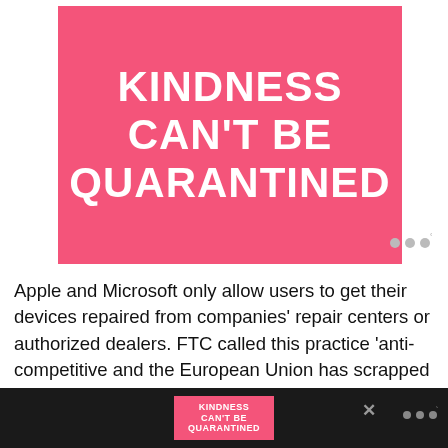[Figure (illustration): Pink square graphic with white bold text reading 'KINDNESS CAN'T BE QUARANTINED' and a small watermark logo in the bottom right corner]
Apple and Microsoft only allow users to get their devices repaired from companies' repair centers or authorized dealers. FTC called this practice 'anti-competitive and the European Union has scrapped the practice by passing a new historic 'Right to Repair' rating law which requires companies to label how long would a product last, and repairability rating. It is a win
[Figure (illustration): Advertisement banner at the bottom of the screen showing 'KINDNESS CAN'T BE QUARANTINED' text on a dark background with a close button and watermark]